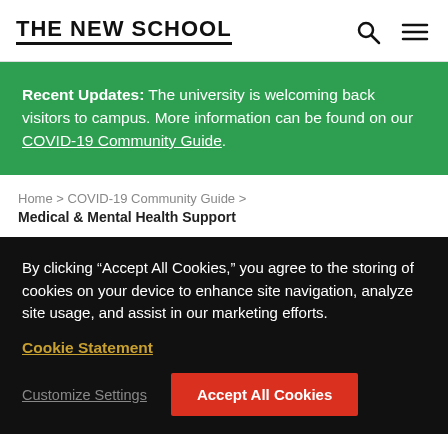THE NEW SCHOOL
Recent Updates: The university is welcoming back visitors to campus. More information can be found on our COVID-19 Community Guide.
Home > COVID-19 Community Guide > Medical & Mental Health Support
By clicking “Accept All Cookies,” you agree to the storing of cookies on your device to enhance site navigation, analyze site usage, and assist in our marketing efforts.
Cookie Statement
Customize Settings
Accept All Cookies